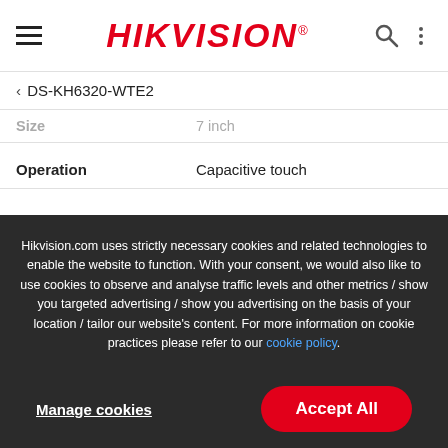HIKVISION® (navigation bar with hamburger menu, logo, search and dots icons)
< DS-KH6320-WTE2
| Property | Value |
| --- | --- |
| Size | 7 inch |
| Operation | Capacitive touch |
Hikvision.com uses strictly necessary cookies and related technologies to enable the website to function. With your consent, we would also like to use cookies to observe and analyse traffic levels and other metrics / show you targeted advertising / show you advertising on the basis of your location / tailor our website's content. For more information on cookie practices please refer to our cookie policy.
Manage cookies
Accept All